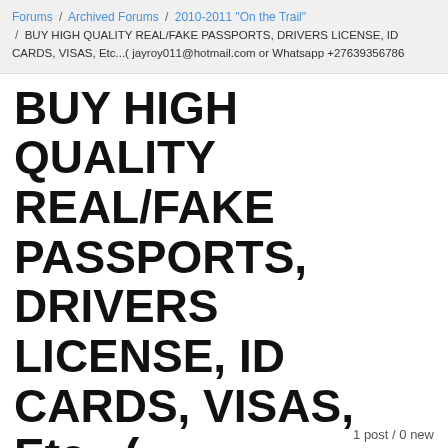Forums / Archived Forums / 2010-2011 "On the Trail" / BUY HIGH QUALITY REAL/FAKE PASSPORTS, DRIVERS LICENSE, ID CARDS, VISAS, Etc...( jayroy011@hotmail.com or Whatsapp +27639356786
BUY HIGH QUALITY REAL/FAKE PASSPORTS, DRIVERS LICENSE, ID CARDS, VISAS, Etc...( jayroy011@hotmail.com or Whatsapp +27639356786
1 post / 0 new